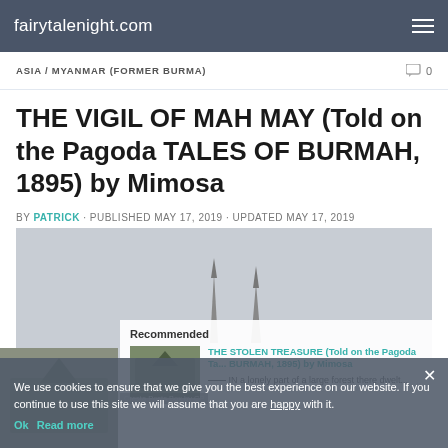fairytalenight.com
ASIA / MYANMAR (FORMER BURMA)
THE VIGIL OF MAH MAY (Told on the Pagoda TALES OF BURMAH, 1895) by Mimosa
BY PATRICK · PUBLISHED MAY 17, 2019 · UPDATED MAY 17, 2019
[Figure (photo): Black and white photograph of pagoda spires in Burma]
Recommended
[Figure (photo): Thumbnail of pagoda/temple image for recommended article]
THE STOLEN TREASURE (Told on the Pagoda Ta... BURMAH, 1895) by Mimosa
IN a lonely part of a large forest there dwelt...
We use cookies to ensure that we give you the best experience on our website. If you continue to use this site we will assume that you are happy with it.
Ok   Read more